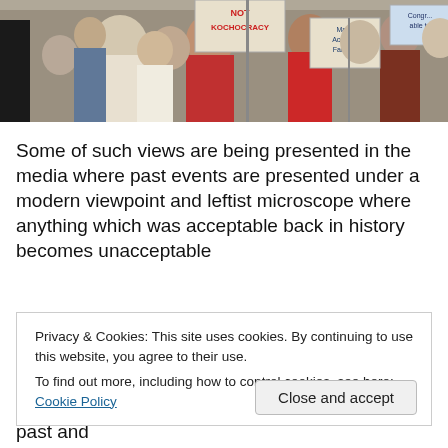[Figure (photo): Crowd of protesters holding signs including one reading 'NOT KOCHOCRACY', wearing red shirts and casual clothing at an outdoor rally]
Some of such views are being presented in the media where past events are presented under a modern viewpoint and leftist microscope where anything which was acceptable back in history becomes unacceptable
Privacy & Cookies: This site uses cookies. By continuing to use this website, you agree to their use.
To find out more, including how to control cookies, see here: Cookie Policy
history and thus leaves them unattached to their past and